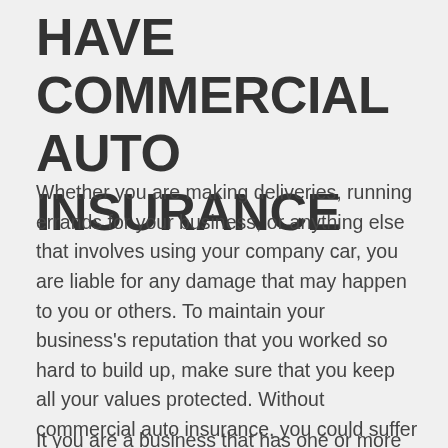HAVE COMMERCIAL AUTO INSURANCE
Whether you are making deliveries, running errands for your business, or anything else that involves using your company car, you are liable for any damage that may happen to you or others. To maintain your business's reputation that you worked so hard to build up, make sure that you keep all your values protected. Without commercial auto insurance, you could suffer serious losses that your company cannot afford.
If you are a business that has one or more...